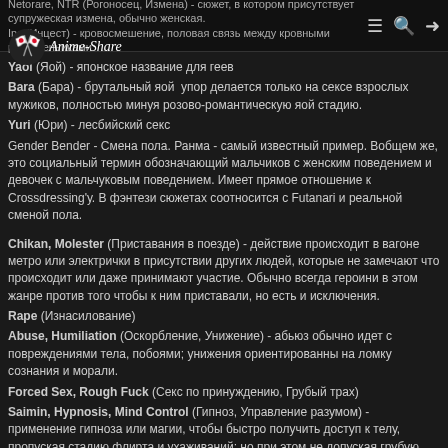Netorare, NTR (Рогоносец, Измена) - сюжет, в котором присутствует супружеская измена, обычно женская. Inc (Инцест) - кровосмешение, половая связь между кровными родственниками
Yaoi (Яой) - японское название для геев
Bara (Бара) - брутальный яой  упор делается только на сексе взрослых мужиков, полностью минуя розово-романтическую яой стадию.
Yuri (Юри) - лесбийский секс
Gender Bender - Смена пола. Ранма - самый известный пример. Вобщем же, это социальный термин обозначающий мальчиков с женским поведением и девочек с мальчуковым поведением. Имеет прямое отношение к Crossdressing'у. В фэнтези сюжетах соотносится с Futanari и реальной сменой пола.
Chikan, Molester (Приставания в поезде) - действие происходит в вагоне метро или электрички в присутствии других людей, которые не замечают что происходит или даже принимают участие. Обычно всегда героини в этом жанре против того чтобы к ним приставали, но есть и исключения.
Rape (Изнасилование)
Abuse, Humiliation (Оскорбление, Унижение) - абьюз обычно идет с повреждениями тела, побоями; унижения ориентированны на ломку сознания и морали.
Forced Sex, Rough Fuck (Секс по принуждению, Грубый трах)
Saimin, Hypnosis, Mind Control (Гипноз, Управление разумом) - применение гипноза или магии, чтобы быстро получить доступ к телу, пропуская стадию флирта и ухаживаний; но при этом не допуская грубую силу, как в случаях выше